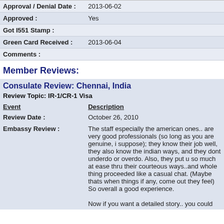| Approval / Denial Date : | 2013-06-02 |
| Approved : | Yes |
| Got I551 Stamp : |  |
| Green Card Received : | 2013-06-04 |
| Comments : |  |
Member Reviews:
Consulate Review: Chennai, India
Review Topic: IR-1/CR-1 Visa
| Event | Description |
| --- | --- |
| Review Date : | October 26, 2010 |
| Embassy Review : | The staff especially the american ones.. are very good professionals (so long as you are genuine, i suppose); they know their job well, they also know the indian ways, and they dont underdo or overdo. Also, they put u so much at ease thru their courteous ways..and whole thing proceeded like a casual chat. (Maybe thats when things if any, come out they feel) So overall a good experience.

Now if you want a detailed story.. you could |